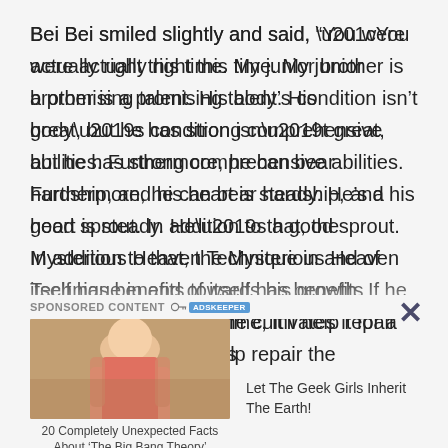Bei Bei smiled slightly and said, “You were actually right this time. My junior brother is a promising talent. His body’s condition isn’t great, but he has strong comprehensive abilities. Furthermore, he can bear hardship, and his heart is steady. He’s a good sprout. In addition to that, the Mysterious Heaven Technique in and of itself has benefits towards his growth. If he cultivates it for a long time, it’ll help repair the passageways in his
SPONSORED CONTENT
[Figure (photo): Photo of a blonde woman in a pink/coral top, appears to be from The Big Bang Theory TV show]
20 Completely Unexpected Facts About 'The Big Bang Theory'
Let The Geek Girls Inherit The Earth!